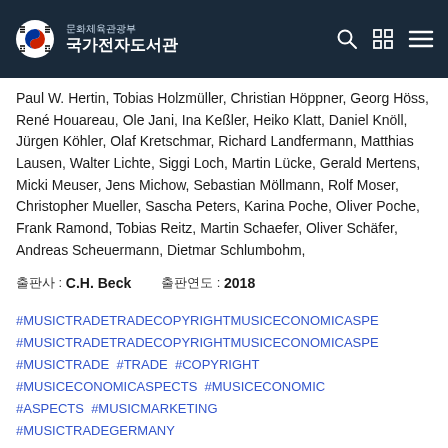문화체육관광부 국가전자도서관
Paul W. Hertin, Tobias Holzmüller, Christian Höppner, Georg Höss, René Houareau, Ole Jani, Ina Keßler, Heiko Klatt, Daniel Knöll, Jürgen Köhler, Olaf Kretschmar, Richard Landfermann, Matthias Lausen, Walter Lichte, Siggi Loch, Martin Lücke, Gerald Mertens, Micki Meuser, Jens Michow, Sebastian Möllmann, Rolf Moser, Christopher Mueller, Sascha Peters, Karina Poche, Oliver Poche, Frank Ramond, Tobias Reitz, Martin Schaefer, Oliver Schäfer, Andreas Scheuermann, Dietmar Schlumbohm,
출판사 : C.H. Beck    출판연도 : 2018
#MUSICTRADETRADECOPYRIGHT MUSICECONOMICASPE #MUSICTRADETRADECOPYRIGHT MUSICECONOMICASPE #MUSICTRADE #TRADE #COPYRIGHT #MUSICECONOMICASPECTS #MUSICECONOMIC #ASPECTS #MUSICMARKETING #MUSICTRADEGERMANY